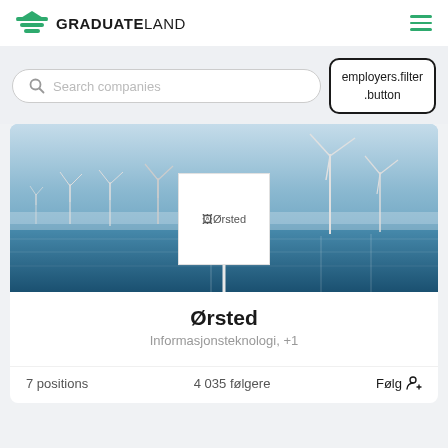[Figure (logo): Graduateland logo with green graduation cap icon and bold text GRADUATELAND]
Search companies
employers.filter .button
[Figure (photo): Offshore wind farm with many wind turbines in the sea under a blue hazy sky]
[Figure (logo): Ørsted company logo in white box overlaid on wind farm photo]
Ørsted
Informasjonsteknologi, +1
7 positions
4 035 følgere
Følg